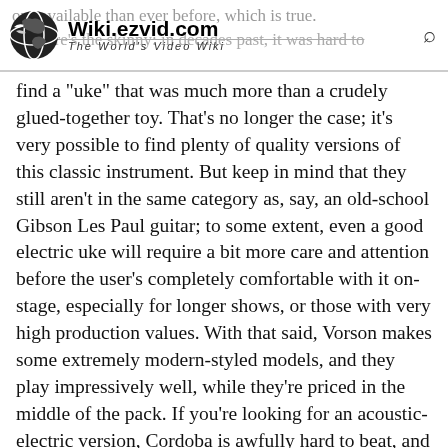Wiki.ezvid.com — The World's Video Wiki
find a "uke" that was much more than a crudely glued-together toy. That's no longer the case; it's very possible to find plenty of quality versions of this classic instrument. But keep in mind that they still aren't in the same category as, say, an old-school Gibson Les Paul guitar; to some extent, even a good electric uke will require a bit more care and attention before the user's completely comfortable with it on-stage, especially for longer shows, or those with very high production values. With that said, Vorson makes some extremely modern-styled models, and they play impressively well, while they're priced in the middle of the pack. If you're looking for an acoustic-electric version, Cordoba is awfully hard to beat, and Luna makes some great ones, too. In between is the slim-bodied Epiphone